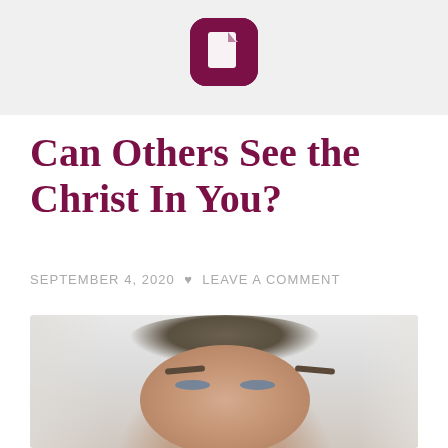[Figure (logo): Dark maroon/purple document icon logo — a rounded square with a folded-corner page icon in white]
Can Others See the Christ In You?
SEPTEMBER 4, 2020  ♥  LEAVE A COMMENT
[Figure (photo): Close-up photo of a man's face looking slightly downward, with light brown/grey hair, against a bright white/light grey blurred background with curtains]